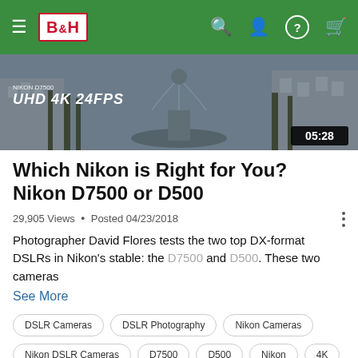B&H navigation bar
[Figure (screenshot): Video thumbnail showing a fountain in winter with 'NIKON D7500 UHD 4K 24FPS' text overlay and timecode 05:28]
Which Nikon is Right for You? Nikon D7500 or D500
29,905 Views · Posted 04/23/2018
Photographer David Flores tests the two top DX-format DSLRs in Nikon's stable: the D7500 and D500. These two cameras
See More
DSLR Cameras
DSLR Photography
Nikon Cameras
Nikon DSLR Cameras
D7500
D500
Nikon
4K
4k camera
4K UHD